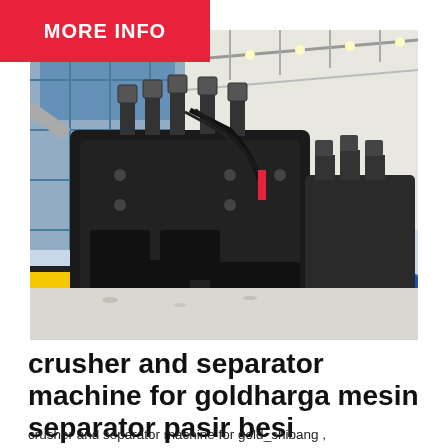MORE INFO
[Figure (photo): Industrial crusher and separator machine, large dark metal equipment with springs and hydraulic cables on top, sitting on gravel floor inside a factory/warehouse with glass facade and white roof structure. Colorful barrier in foreground (yellow, orange, blue).]
crusher and separator machine for goldharga mesin separator pasir besi
crusher and separator machine for gold_shibang ,